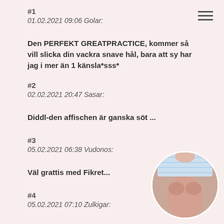#1
01.02.2021 09:06 Golar:
Den PERFEKT GREATPRACTICE, kommer så vill slicka din vackra snave hål, bara att sy har jag i mer än 1 känsla*sss*
#2
02.02.2021 20:47 Sasar:
Diddl-den affischen är ganska söt ...
#3
05.02.2021 06:38 Vudonos:
Väl grattis med Fikret...
#4
05.02.2021 07:10 Zulkigar:
[Figure (photo): Circular thumbnail photo]